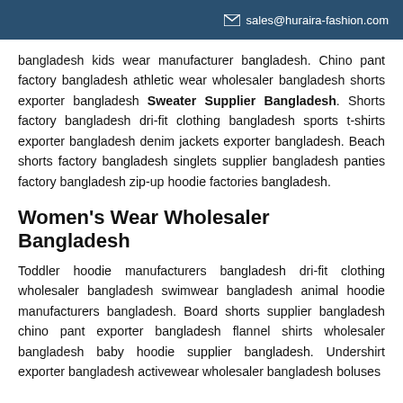sales@huraira-fashion.com
bangladesh kids wear manufacturer bangladesh. Chino pant factory bangladesh athletic wear wholesaler bangladesh shorts exporter bangladesh Sweater Supplier Bangladesh. Shorts factory bangladesh dri-fit clothing bangladesh sports t-shirts exporter bangladesh denim jackets exporter bangladesh. Beach shorts factory bangladesh singlets supplier bangladesh panties factory bangladesh zip-up hoodie factories bangladesh.
Women's Wear Wholesaler Bangladesh
Toddler hoodie manufacturers bangladesh dri-fit clothing wholesaler bangladesh swimwear bangladesh animal hoodie manufacturers bangladesh. Board shorts supplier bangladesh chino pant exporter bangladesh flannel shirts wholesaler bangladesh baby hoodie supplier bangladesh. Undershirt exporter bangladesh activewear wholesaler bangladesh boluses